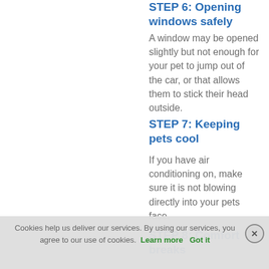STEP 6: Opening windows safely
A window may be opened slightly but not enough for your pet to jump out of the car, or that allows them to stick their head outside.
STEP 7: Keeping pets cool
If you have air conditioning on, make sure it is not blowing directly into your pets face.
STEP 8: Comfort breaks
Cookies help us deliver our services. By using our services, you agree to our use of cookies. Learn more   Got it